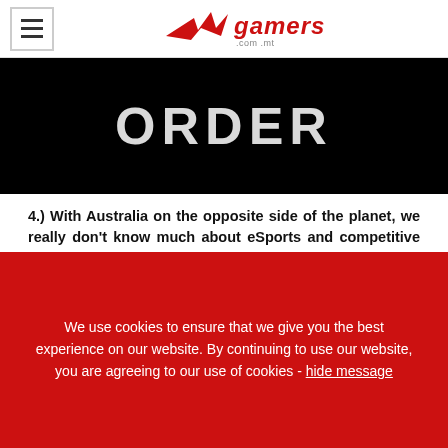gamers.com.mt
[Figure (photo): Black banner image with large white text reading ORDER]
4.) With Australia on the opposite side of the planet, we really don't know much about eSports and competitive gaming in the region in general. Describe it a little for us.
I would say that esports in Australia is about to enter an explosive growth period. The selection...
We use cookies to ensure that we give you the best experience on our website. By continuing to use our website, you are agreeing to our use of cookies - hide message